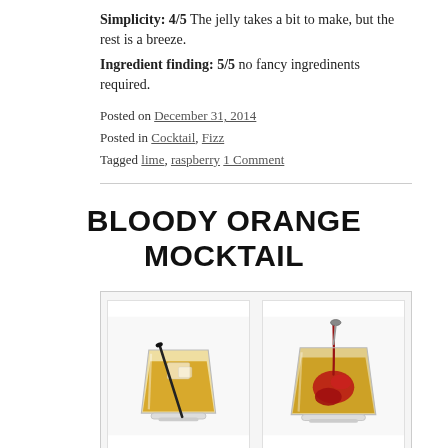Simplicity: 4/5  The jelly takes a bit to make, but the rest is a breeze.
Ingredient finding: 5/5 no fancy ingredinents required.
Posted on December 31, 2014
Posted in Cocktail, Fizz
Tagged lime, raspberry 1 Comment
BLOODY ORANGE MOCKTAIL
[Figure (photo): Two cocktail glasses side by side: left glass contains an amber/yellow drink with ice and a dark straw/stirrer; right glass contains an amber drink with red raspberry jelly/syrup being added from above with a spoon.]